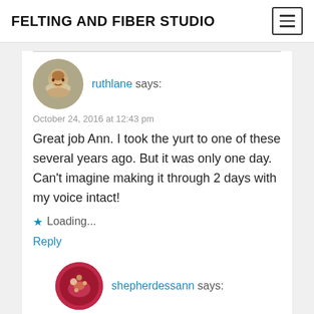FELTING AND FIBER STUDIO
ruthlane says:
October 24, 2016 at 12:43 pm
Great job Ann. I took the yurt to one of these several years ago. But it was only one day. Can't imagine making it through 2 days with my voice intact!
Loading...
Reply
shepherdessann says:
October 24, 2016 at 1:09 pm